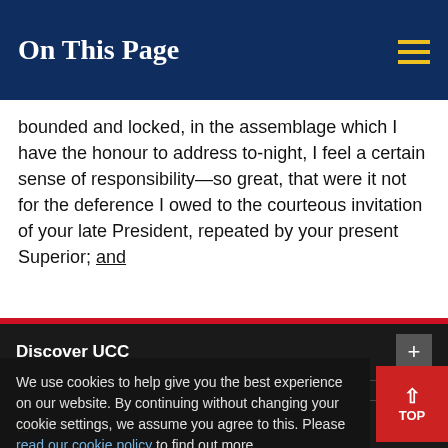On This Page
bounded and locked, in the assemblage which I have the honour to address to-night, I feel a certain sense of responsibility—so great, that were it not for the deference I owed to the courteous invitation of your late President, repeated by your present Superior; and
Discover UCC
Schools & Departments
We use cookies to help give you the best experience on our website. By continuing without changing your cookie settings, we assume you agree to this. Please read our cookie policy to find out more.
Business & Enterprise
Alumni & Development
Close
Home